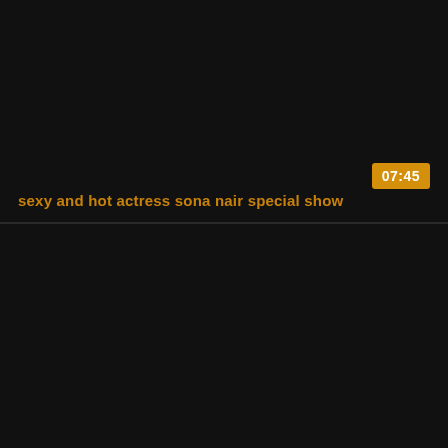[Figure (screenshot): Top video thumbnail panel — dark/black background with a duration badge showing '07:45' in gold/amber on the right side, and a video title in gold text at the bottom]
07:45
sexy and hot actress sona nair special show
[Figure (screenshot): Bottom video thumbnail panel — dark/black background, no text or overlays]